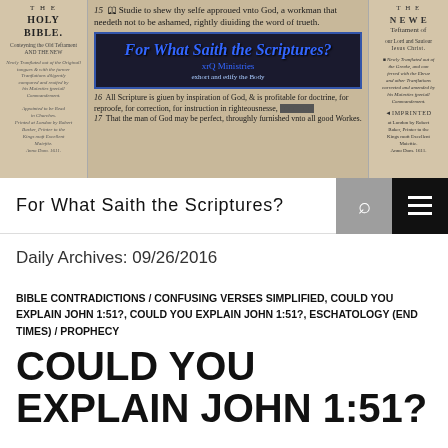[Figure (screenshot): Website header banner showing antique Bible pages as background. Left section shows 'THE HOLY BIBLE' title page text. Center shows verse text from 2 Timothy 2:15 and 2 Timothy 3:16-17 in old English font, with a blue framed logo box reading 'For What Saith the Scriptures? xrQ Ministries'. Right section shows 'THE NEW Testament of our Lord and Saviour Jesus Christ' title page text with 'IMPRINTED at London by Robert Baker' text.]
For What Saith the Scriptures?
Daily Archives: 09/26/2016
BIBLE CONTRADICTIONS / CONFUSING VERSES SIMPLIFIED, COULD YOU EXPLAIN JOHN 1:51?, COULD YOU EXPLAIN JOHN 1:51?, ESCHATOLOGY (END TIMES) / PROPHECY
COULD YOU EXPLAIN JOHN 1:51?